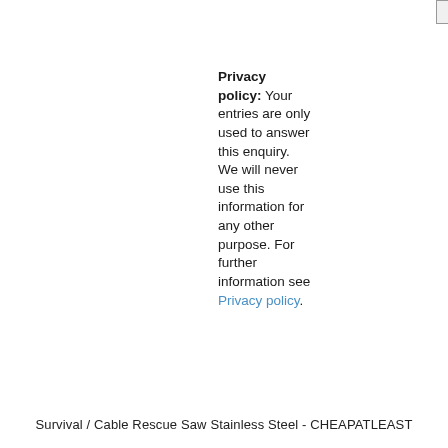[Figure (screenshot): Send button UI element]
Privacy policy: Your entries are only used to answer this enquiry. We will never use this information for any other purpose. For further information see Privacy policy.
Survival / Cable Rescue Saw Stainless Steel - CHEAPATLEAST